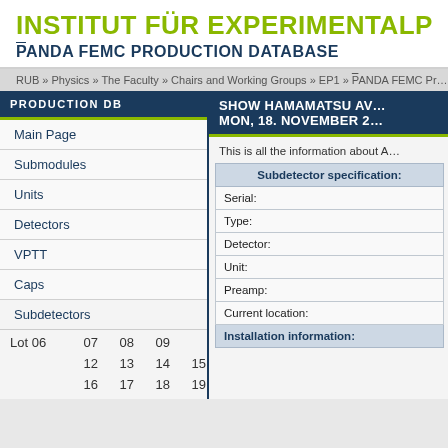INSTITUT FÜR EXPERIMENTALPHYS…
P̄ANDA FEMC PRODUCTION DATABASE
RUB » Physics » The Faculty » Chairs and Working Groups » EP1 » P̄ANDA FEMC Pr…
PRODUCTION DB
Main Page
Submodules
Units
Detectors
VPTT
Caps
Subdetectors
Lot 06   07   08   09
12   13   14   15
16   17   18   19
20   21   22   23
24   25   26   27
SHOW HAMAMATSU AV… MON, 18. NOVEMBER 2…
This is all the information about A…
| Subdetector specification: |
| --- |
| Serial: |
| Type: |
| Detector: |
| Unit: |
| Preamp: |
| Current location: |
| Installation information: |